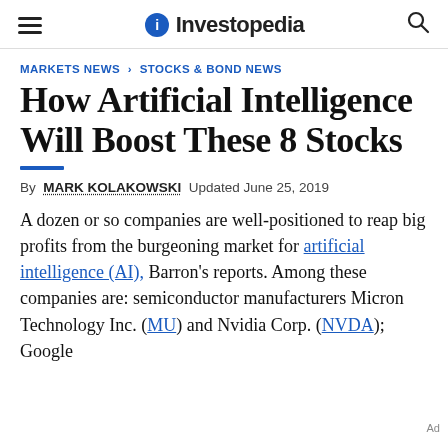Investopedia
MARKETS NEWS > STOCKS & BOND NEWS
How Artificial Intelligence Will Boost These 8 Stocks
By MARK KOLAKOWSKI Updated June 25, 2019
A dozen or so companies are well-positioned to reap big profits from the burgeoning market for artificial intelligence (AI), Barron's reports. Among these companies are: semiconductor manufacturers Micron Technology Inc. (MU) and Nvidia Corp. (NVDA); Google